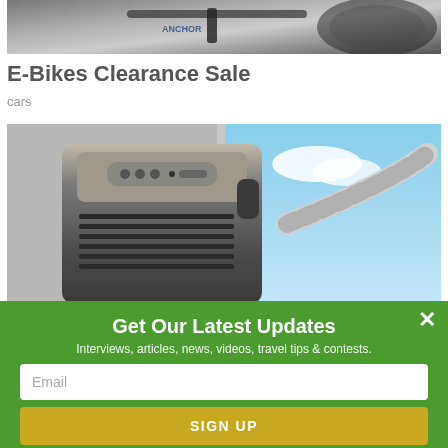[Figure (photo): Partial view of an e-bike handlebar and tire, motion-blurred background]
E-Bikes Clearance Sale
cars
[Figure (photo): Portable air conditioner unit, dark grey with silver trim, venting hose leading to a window with blue sky visible outside]
Get Our Latest Updates
Interviews, articles, news, videos, travel tips & contests.
Email
SIGN UP